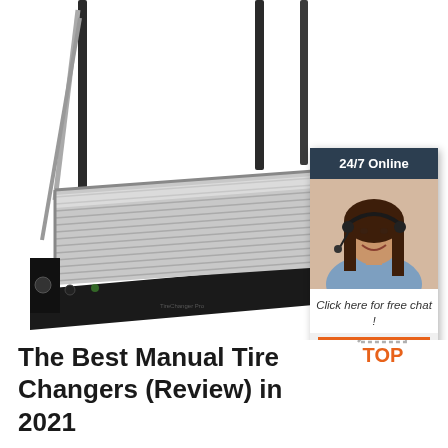[Figure (photo): Product photo of a manual tire changer rack/shelf with metal slats and vertical poles, shown on white background. In the upper right corner, an overlaid chat widget with a dark header reading '24/7 Online', a photo of a smiling woman with a headset, text 'Click here for free chat!', and an orange button labeled 'QUOTATION'.]
[Figure (logo): Orange and gray 'TOP' logo with triangular dot pattern above the text, positioned in the lower right area of the page.]
The Best Manual Tire Changers (Review) in 2021